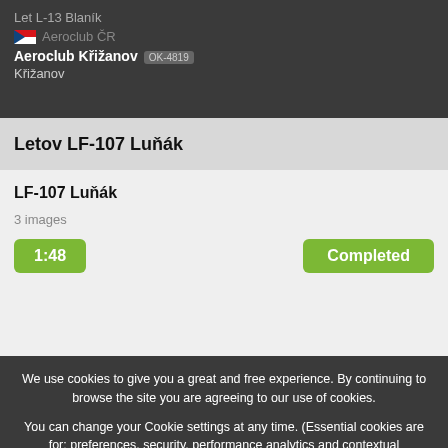Let L-13 Blaník
Aeroclub ČR
Aeroclub Křižanov OK-4819
Křižanov
Letov LF-107 Luňák
LF-107 Luňák
3 images
1:48
Completed
We use cookies to give you a great and free experience. By continuing to browse the site you are agreeing to our use of cookies.
You can change your Cookie settings at any time. (Essential cookies are for: preferences, security, performance analytics and contextual advertising)
Privacy policy »
Continue